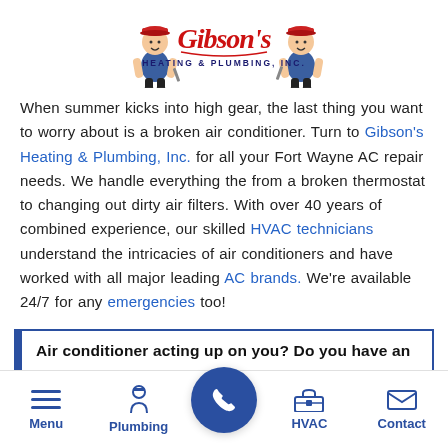[Figure (logo): Gibson's Heating & Plumbing, Inc. logo with cartoon plumber characters on either side of stylized red script text]
When summer kicks into high gear, the last thing you want to worry about is a broken air conditioner. Turn to Gibson's Heating & Plumbing, Inc. for all your Fort Wayne AC repair needs. We handle everything the from a broken thermostat to changing out dirty air filters. With over 40 years of combined experience, our skilled HVAC technicians understand the intricacies of air conditioners and have worked with all major leading AC brands. We're available 24/7 for any emergencies too!
Air conditioner acting up on you? Do you have an
Menu  Plumbing  [phone]  HVAC  Contact